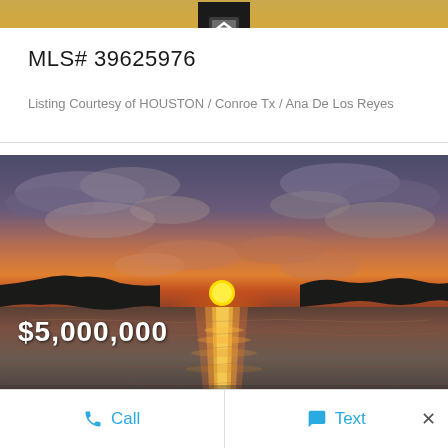MLS# 39625976
Listing Courtesy of HOUSTON / Conroe Tx / Ana De Los Reyes
[Figure (photo): Sunset over a lake with dark silhouetted treelines on the left and right, orange and red sun near the horizon reflecting on the calm water, dramatic cloudy sky in shades of purple, grey, and orange.]
$5,000,000
Call  Text  ×